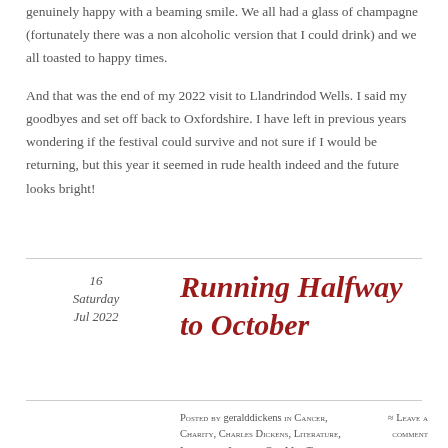genuinely happy with a beaming smile. We all had a glass of champagne (fortunately there was a non alcoholic version that I could drink) and we all toasted to happy times.
And that was the end of my 2022 visit to Llandrindod Wells. I said my goodbyes and set off back to Oxfordshire. I have left in previous years wondering if the festival could survive and not sure if I would be returning, but this year it seemed in rude health indeed and the future looks bright!
16
Saturday
Jul 2022
Running Halfway to October
Posted by geralddickens in Cancer, Charity, Charles Dickens, Literature, Lockdown, London, One Man Theatre,
≈ Leave a comment